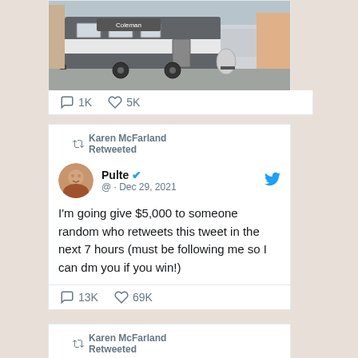[Figure (photo): Coleman brand travel trailer / RV in a parking lot]
1K  5K
Karen McFarland Retweeted
Pulte  @  · Dec 29, 2021
I'm going give $5,000 to someone random who retweets this tweet in the next 7 hours (must be following me so I can dm you if you win!)
13K  69K
Karen McFarland Retweeted